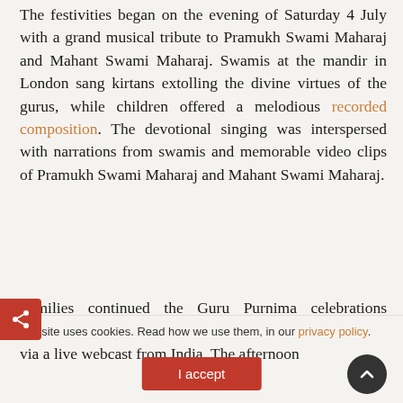The festivities began on the evening of Saturday 4 July with a grand musical tribute to Pramukh Swami Maharaj and Mahant Swami Maharaj. Swamis at the mandir in London sang kirtans extolling the divine virtues of the gurus, while children offered a melodious recorded composition. The devotional singing was interspersed with narrations from swamis and memorable video clips of Pramukh Swami Maharaj and Mahant Swami Maharaj.
Families continued the Guru Purnima celebrations on Sunday 5 July with darshan of Mahant Swami Maharaj via a live webcast from India. The afternoon
This site uses cookies. Read how we use them, in our privacy policy.